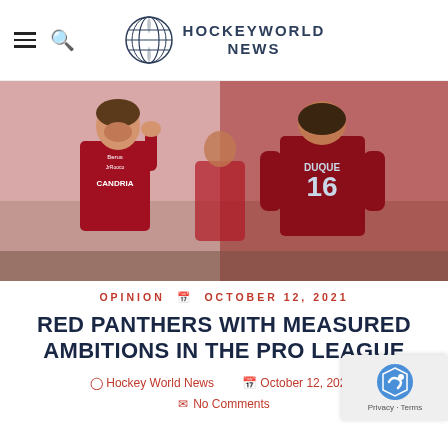HockeyWorld News
[Figure (photo): Two female field hockey players in red jerseys celebrating. One player faces camera smiling with hand raised, wearing CANDRIA jersey. The other has back to camera showing DUQUE 16 jersey.]
OPINION  OCTOBER 12, 2021
RED PANTHERS WITH MEASURED AMBITIONS IN THE PRO LEAGUE
Hockey World News   October 12, 2021
No Comments